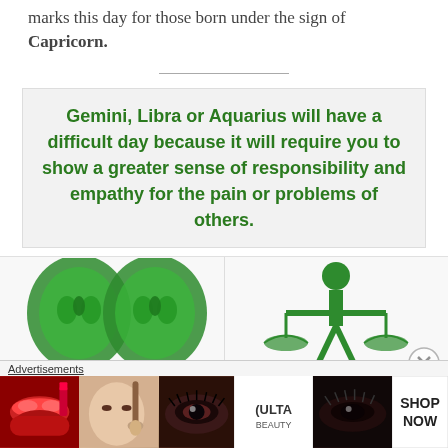marks this day for those born under the sign of Capricorn.
Gemini, Libra or Aquarius will have a difficult day because it will require you to show a greater sense of responsibility and empathy for the pain or problems of others.
[Figure (illustration): Two green Gemini zodiac symbol faces (twins) facing each other, rendered as green illustrated icons]
[Figure (illustration): Green Libra zodiac symbol showing a figure holding balance scales, rendered as a green illustrated icon]
[Figure (illustration): Advertisement banner for ULTA beauty showing cosmetics and makeup images with SHOP NOW button]